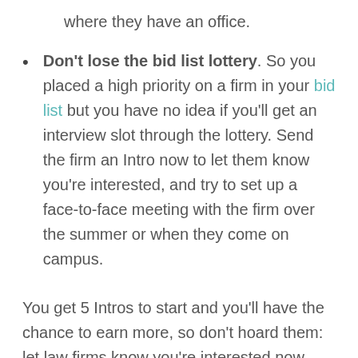where they have an office.
Don't lose the bid list lottery. So you placed a high priority on a firm in your bid list but you have no idea if you'll get an interview slot through the lottery. Send the firm an Intro now to let them know you're interested, and try to set up a face-to-face meeting with the firm over the summer or when they come on campus.
You get 5 Intros to start and you'll have the chance to earn more, so don't hoard them: let law firms know you're interested now. Intros are the fastest, stress-free